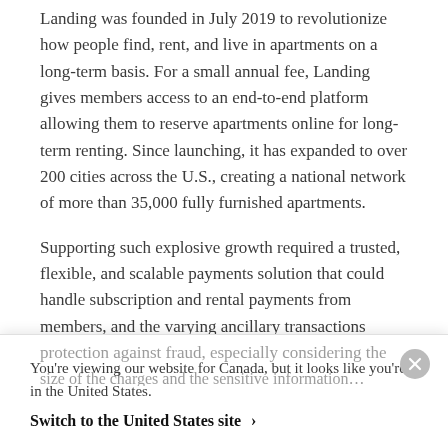Landing was founded in July 2019 to revolutionize how people find, rent, and live in apartments on a long-term basis. For a small annual fee, Landing gives members access to an end-to-end platform allowing them to reserve apartments online for long-term renting. Since launching, it has expanded to over 200 cities across the U.S., creating a national network of more than 35,000 fully furnished apartments.
Supporting such explosive growth required a trusted, flexible, and scalable payments solution that could handle subscription and rental payments from members, and the varying ancillary transactions related to parking, pets, utilities, and other expenses. The
You're viewing our website for Canada, but it looks like you're in the United States.
Switch to the United States site ›
protection against fraud, especially considering the